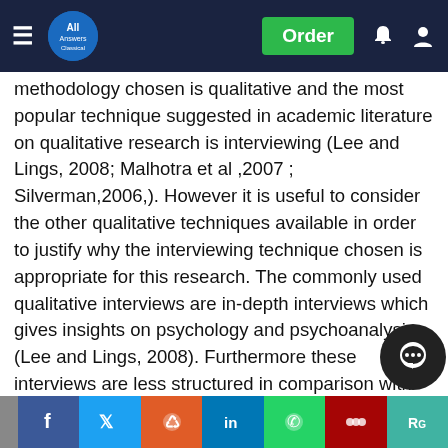All Answers — navigation bar with Order button
methodology chosen is qualitative and the most popular technique suggested in academic literature on qualitative research is interviewing (Lee and Lings, 2008; Malhotra et al ,2007 ; Silverman,2006,). However it is useful to consider the other qualitative techniques available in order to justify why the interviewing technique chosen is appropriate for this research. The commonly used qualitative interviews are in-depth interviews which gives insights on psychology and psychoanalysis (Lee and Lings, 2008). Furthermore these interviews are less structured in comparison with quantitative analysis and are to a greater extent driven by interviewees and not the interviewer (Lee and Lings,2008). Moreover these interviews when driven by interviewees have the potential to go off track leading to interesting examples and discussions covering the research questions (Lee and Lings,2008). Furthermore in